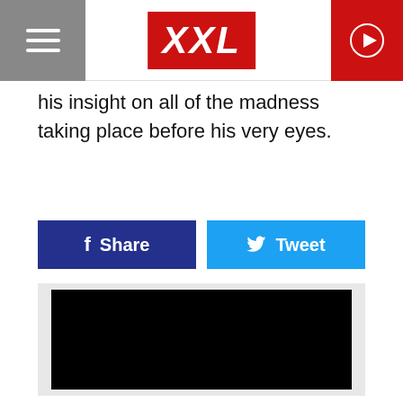XXL
his insight on all of the madness taking place before his very eyes.
[Figure (screenshot): Facebook Share button (dark blue) and Twitter Tweet button (light blue) side by side]
[Figure (screenshot): Embedded video player with black screen on a light grey background]